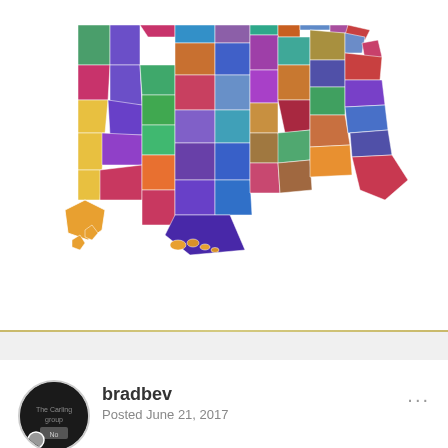[Figure (map): Colorful political/geographic map of the United States with each state colored in a different bright color (pink, purple, teal, green, orange, red, blue, etc.). Alaska shown lower left in orange, Hawaii shown center-bottom.]
bradbev
Posted June 21, 2017
We ordered the risers after seeing them at the recent Oliver rally.  We placed our order on Tuesday, stuck around for the rally and added about $7,000 of adds Monday after the rally. :)
We may miss the ability to sit on the beds, but I think we'll love the